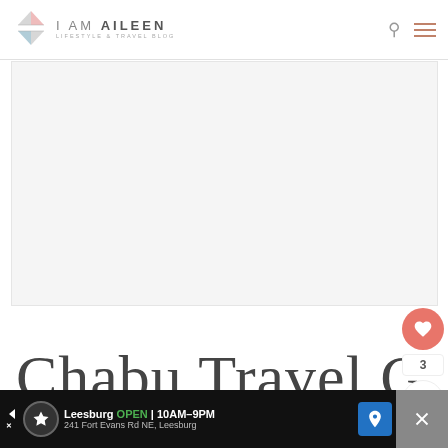i AM AiLEEN — LIFESTYLE & TRAVEL BLOG
[Figure (illustration): Blank/light gray rectangular image placeholder below the header]
Chabu Travel Guide
[Figure (infographic): Floating sidebar with heart/like button showing count 3 and a share button]
[Figure (infographic): Bottom advertisement banner: Leesburg OPEN 10AM-9PM, 241 Fort Evans Rd NE, Leesburg with navigation icon]